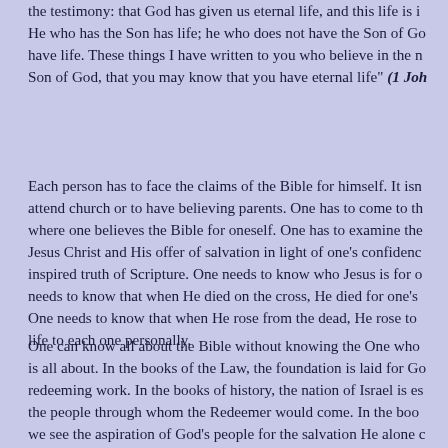the testimony: that God has given us eternal life, and this life is in His Son. He who has the Son has life; he who does not have the Son of God does not have life. These things I have written to you who believe in the name of the Son of God, that you may know that you have eternal life" (1 Joh
Each person has to face the claims of the Bible for himself. It isn't enough to attend church or to have believing parents. One has to come to the place where one believes the Bible for oneself. One has to examine the claims of Jesus Christ and His offer of salvation in light of one's confidence in the inspired truth of Scripture. One needs to know who Jesus is for oneself. One needs to know that when He died on the cross, He died for one's sins. One needs to know that when He rose from the dead, He rose to give life to each one personally.
One can know all about the Bible without knowing the One whom the Bible is all about. In the books of the Law, the foundation is laid for God's redeeming work. In the books of history, the nation of Israel is established as the people through whom the Redeemer would come. In the books of poetry, we see the aspiration of God's people for the salvation He alone can give. In the Prophets, we read of their expectation for the coming Messiah. In the Gospels, we see the incarnate Son of God in all His glory, as He dies for our sins and rises from the dead. In the book of Acts, we read the story of the early church and its proclamation of the gospel of Christ's death, burial, and resurrection. In the Epistles, the nature of our salvation is fully ex... In Revelation, our attention is pointed forward to the return of Chris...